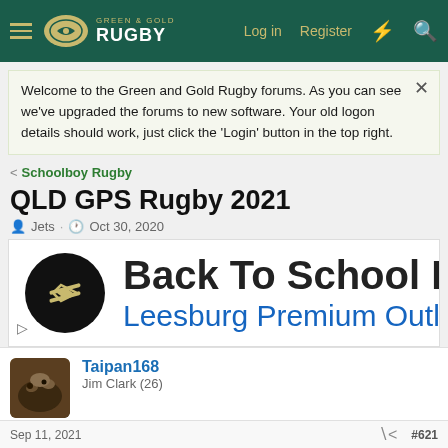Green & Gold Rugby — Log in · Register
Welcome to the Green and Gold Rugby forums. As you can see we've upgraded the forums to new software. Your old logon details should work, just click the 'Login' button in the top right.
< Schoolboy Rugby
QLD GPS Rugby 2021
Jets · Oct 30, 2020
[Figure (screenshot): Advertisement banner: Back To School Essentials — Leesburg Premium Outlets, with circular logo]
Taipan168
Jim Clark (26)
Sep 11, 2021  #621